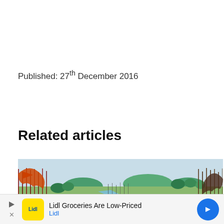Published: 27th December 2016
Related articles
[Figure (illustration): Medieval battle scene painting showing armies with spears and flags in a green landscape with a winding river in the background and trees]
Lidl Groceries Are Low-Priced
Lidl